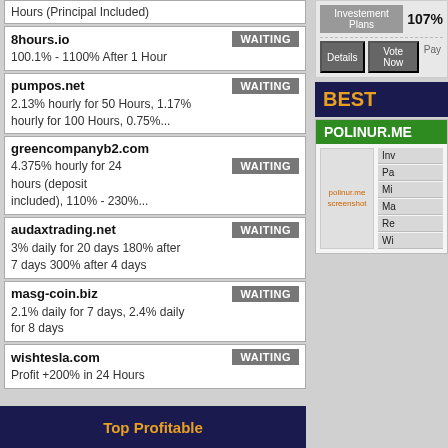Hours (Principal Included)
8hours.io — WAITING — 100.1% - 1100% After 1 Hour
pumpos.net — WAITING — 2.13% hourly for 50 Hours, 1.17% hourly for 100 Hours, 0.75%...
greencompanyb2.com — WAITING — 4.375% hourly for 24 hours (deposit included), 110% - 230%...
audaxtrading.net — WAITING — 3% daily for 20 days 180% after 7 days 300% after 4 days
masg-coin.biz — WAITING — 2.1% daily for 7 days, 2.4% daily for 8 days
wishtesla.com — WAITING — Profit +200% in 24 Hours
[Figure (screenshot): Investment monitoring site widget showing Investement Plans 107%, Details, Vote Now, Pay buttons]
BEST
[Figure (screenshot): POLINUR.ME investment site card with screenshot placeholder and details rows: Inv, Pa, Mi, Ma, Re, Wi]
[Figure (screenshot): Top Profitable banner at bottom left, dark blue with orange text]